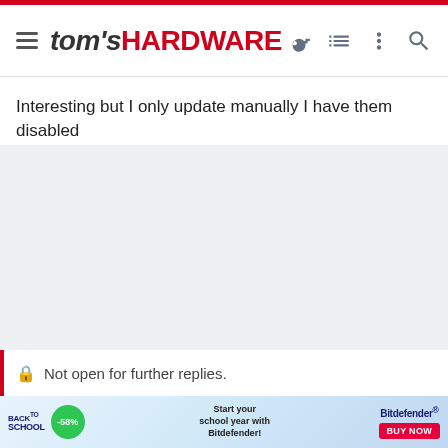tom's HARDWARE
Interesting but I only update manually I have them disabled
[Figure (other): Grey placeholder content area]
Not open for further replies.
[Figure (other): Back to School advertisement banner for Bitdefender with -58% discount]